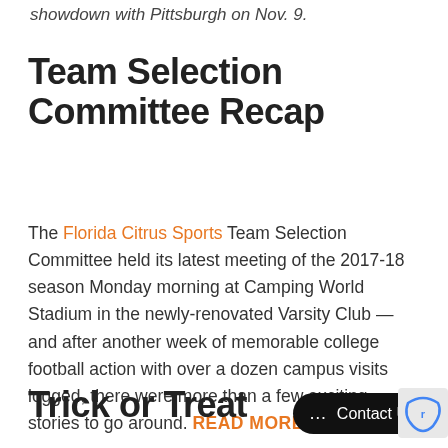showdown with Pittsburgh on Nov. 9.
Team Selection Committee Recap
The Florida Citrus Sports Team Selection Committee held its latest meeting of the 2017-18 season Monday morning at Camping World Stadium in the newly-renovated Varsity Club — and after another week of memorable college football action with over a dozen campus visits logged, there were more than a few exciting stories to go around. READ MORE >>>
Trick or Treat